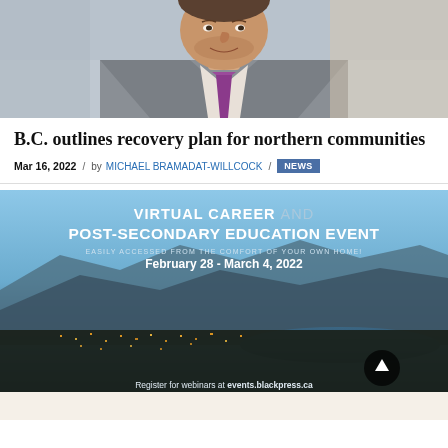[Figure (photo): Photo of a man in a grey suit with a purple tie, cropped at top of head, smiling slightly]
B.C. outlines recovery plan for northern communities
Mar 16, 2022 / by MICHAEL BRAMADAT-WILLCOCK / NEWS
[Figure (photo): Advertisement banner for Virtual Career and Post-Secondary Education Event, February 28 - March 4, 2022. Background shows aerial night view of a city with mountains and lake. Text reads: VIRTUAL CAREER AND POST-SECONDARY EDUCATION EVENT. EASILY ACCESSED FROM THE COMFORT OF YOUR OWN HOME! February 28 - March 4, 2022. Register for webinars at events.blackpress.ca]